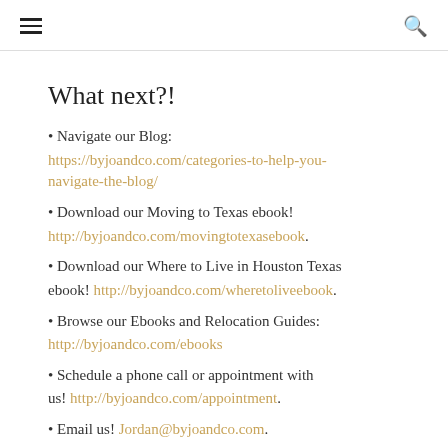[hamburger menu] [search icon]
What next?!
• Navigate our Blog: https://byjoandco.com/categories-to-help-you-navigate-the-blog/
• Download our Moving to Texas ebook! http://byjoandco.com/movingtotexasebook.
• Download our Where to Live in Houston Texas ebook! http://byjoandco.com/wheretoliveebook.
• Browse our Ebooks and Relocation Guides: http://byjoandco.com/ebooks
• Schedule a phone call or appointment with us! http://byjoandco.com/appointment.
• Email us! Jordan@byjoandco.com.